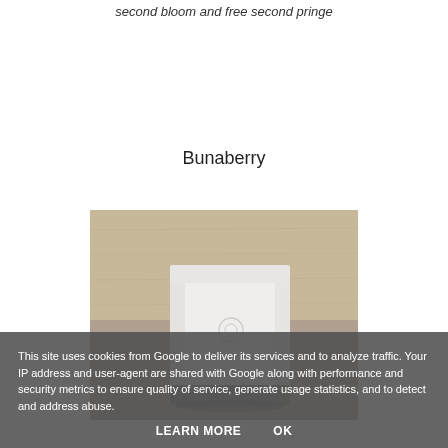second bloom and free second pringe
Bunaberry
[Figure (photo): A white coffee/product bag lying on a light wooden surface]
This site uses cookies from Google to deliver its services and to analyze traffic. Your IP address and user-agent are shared with Google along with performance and security metrics to ensure quality of service, generate usage statistics, and to detect and address abuse.
LEARN MORE
OK